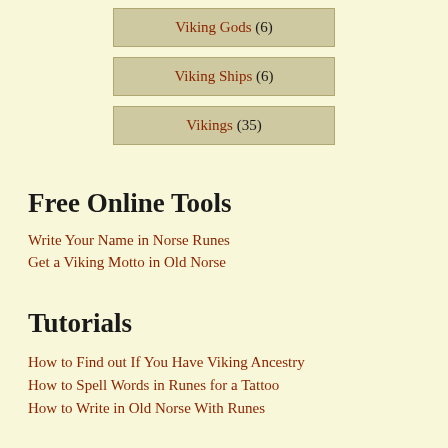Viking Gods (6)
Viking Ships (6)
Vikings (35)
Free Online Tools
Write Your Name in Norse Runes
Get a Viking Motto in Old Norse
Tutorials
How to Find out If You Have Viking Ancestry
How to Spell Words in Runes for a Tattoo
How to Write in Old Norse With Runes